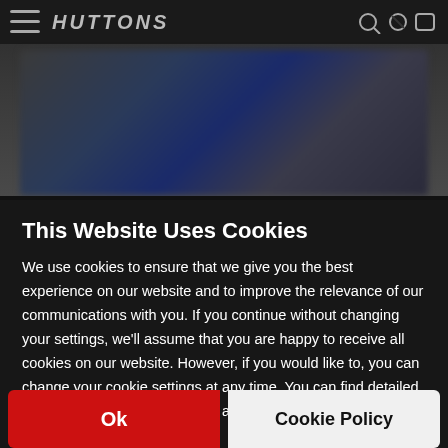[Figure (screenshot): Blurred website background with dark navigation bar showing a logo and a blurred content image below]
This Website Uses Cookies
We use cookies to ensure that we give you the best experience on our website and to improve the relevance of our communications with you. If you continue without changing your settings, we'll assume that you are happy to receive all cookies on our website. However, if you would like to, you can change your cookie settings at any time. You can find detailed information about how cookies are used on this website by clicking Cookie Policy.
Ok
Cookie Policy